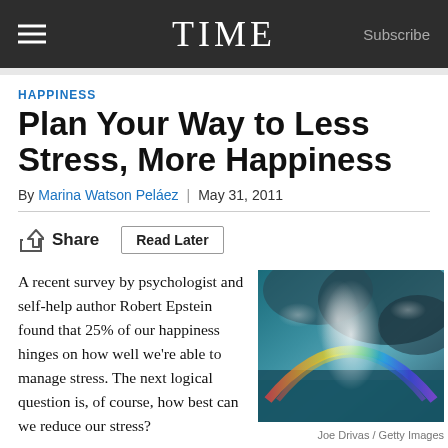TIME  Subscribe
HAPPINESS
Plan Your Way to Less Stress, More Happiness
By Marina Watson Peláez  |  May 31, 2011
Share   Read Later
A recent survey by psychologist and self-help author Robert Epstein found that 25% of our happiness hinges on how well we're able to manage stress. The next logical question is, of course, how best can we reduce our stress?
[Figure (photo): Colorful sky with clouds, rainbow-like hues — Joe Drivas / Getty Images]
Joe Drivas / Getty Images